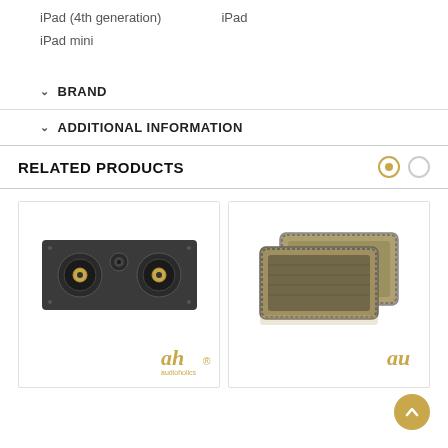iPad (4th generation)    iPad
iPad mini
BRAND
ADDITIONAL INFORMATION
RELATED PRODUCTS
[Figure (photo): Center channel speaker, black rectangular enclosure with two woofers and one tweeter, Audioholics logo in bottom right]
[Figure (photo): Two rectangular in-wall/ceiling speaker grilles with decorative border, stacked slightly offset, gold-tan color]